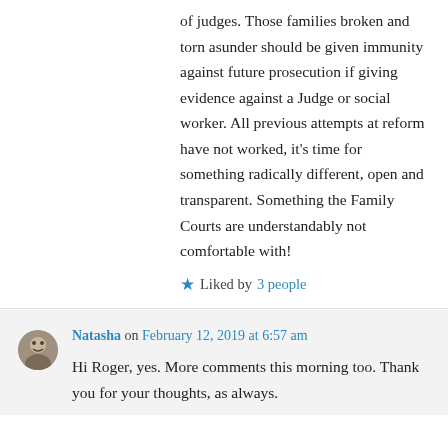of judges. Those families broken and torn asunder should be given immunity against future prosecution if giving evidence against a Judge or social worker. All previous attempts at reform have not worked, it's time for something radically different, open and transparent. Something the Family Courts are understandably not comfortable with!
★ Liked by 3 people
↪ Reply
Natasha on February 12, 2019 at 6:57 am
Hi Roger, yes. More comments this morning too. Thank you for your thoughts, as always.